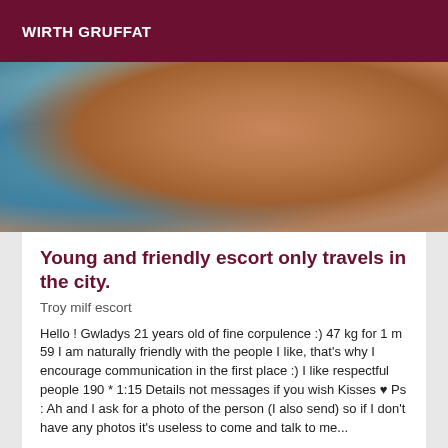WIRTH GRUFFAT
[Figure (photo): Close-up photo of a person's bare torso/shoulder area with a teal/blue fabric visible in the background]
Young and friendly escort only travels in the city.
Troy milf escort
Hello ! Gwladys 21 years old of fine corpulence :) 47 kg for 1 m 59 I am naturally friendly with the people I like, that's why I encourage communication in the first place :) I like respectful people 190 * 1:15 Details not messages if you wish Kisses ♥ Ps : Ah and I ask for a photo of the person (I also send) so if I don't have any photos it's useless to come and talk to me...